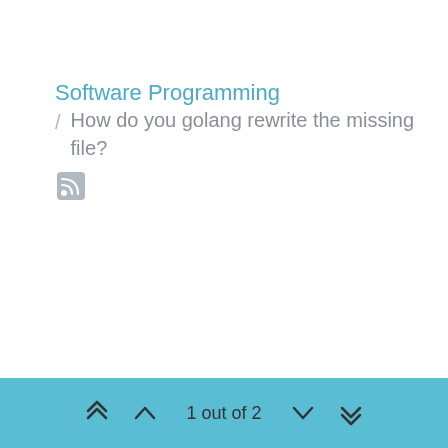Software Programming
/ How do you golang rewrite the missing file?
[Figure (other): RSS feed icon (small square icon with wifi-style signal waves)]
1 out of 2